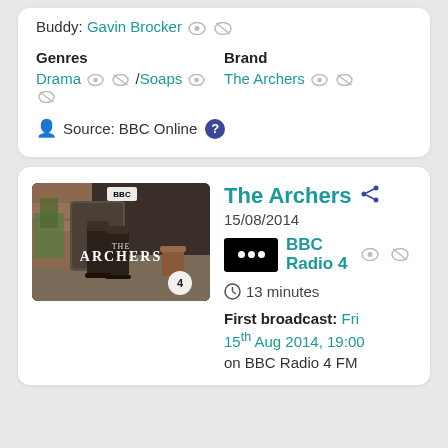Buddy: Gavin Brocker
Genres: Drama / Soaps   Brand: The Archers
Source: BBC Online
[Figure (photo): The Archers BBC Radio 4 show thumbnail — wellington boots outside a rural building with BBC and Archers branding and a '4' badge]
The Archers
15/08/2014
BBC Radio 4
13 minutes
First broadcast: Fri 15th Aug 2014, 19:00 on BBC Radio 4 FM